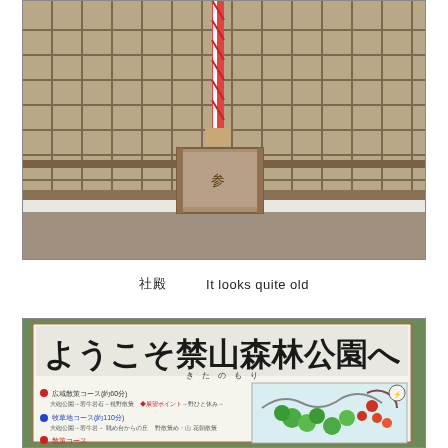[Figure (photo): Close-up photograph of a weathered wooden shrine structure with a lattice/grid pattern wall, showing aged wood and paint. A twisted red-and-white rope (shimenawa) hangs vertically in the center, with a wooden block holder below it. The structure appears very old and worn.]
社殿　　　　It looks quite old
[Figure (photo): Photograph of a park information sign that reads 'ようこそ禁山森林公園へ' (Welcome to Kinzan Forest Park) with a colorful map/diagram showing hiking courses and park facilities.]